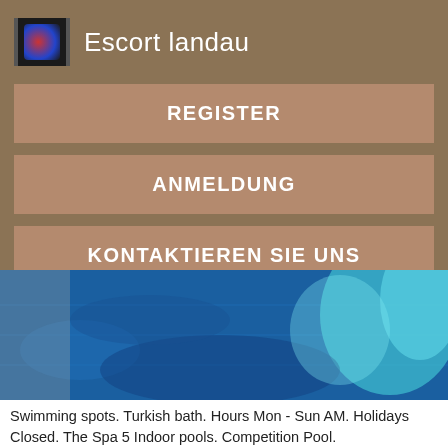Escort landau
REGISTER
ANMELDUNG
KONTAKTIEREN SIE UNS
[Figure (photo): Swimming pool with blue water, indoor pool view]
Swimming spots. Turkish bath. Hours Mon - Sun AM. Holidays Closed. The Spa 5 Indoor pools. Competition Pool.